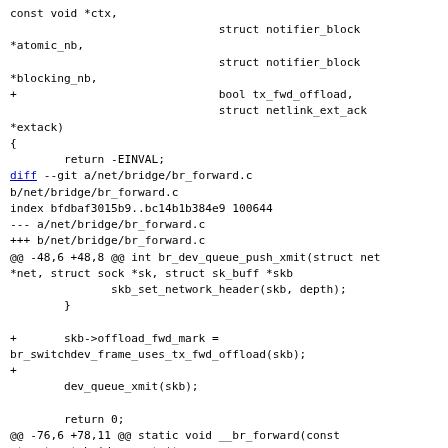const void *ctx,
                               struct notifier_block *atomic_nb,
                               struct notifier_block *blocking_nb,
+                              bool tx_fwd_offload,
                               struct netlink_ext_ack *extack)
{
        return -EINVAL;
diff --git a/net/bridge/br_forward.c b/net/bridge/br_forward.c
index bfdbaf3015b9..bc14b1b384e9 100644
--- a/net/bridge/br_forward.c
+++ b/net/bridge/br_forward.c
@@ -48,6 +48,8 @@ int br_dev_queue_push_xmit(struct net *net, struct sock *sk, struct sk_buff *skb
                skb_set_network_header(skb, depth);
        }

+       skb->offload_fwd_mark =
br_switchdev_frame_uses_tx_fwd_offload(skb);
+
        dev_queue_xmit(skb);

        return 0;
@@ -76,6 +78,11 @@ static void __br_forward(const struct net_bridge_port *to,
        struct net *net;
        int br_hook;